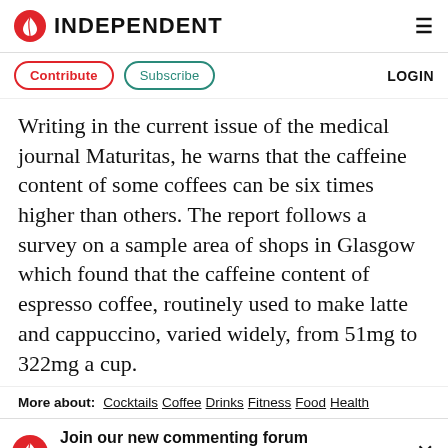INDEPENDENT
Contribute  Subscribe  LOGIN
Writing in the current issue of the medical journal Maturitas, he warns that the caffeine content of some coffees can be six times higher than others. The report follows a survey on a sample area of shops in Glasgow which found that the caffeine content of espresso coffee, routinely used to make latte and cappuccino, varied widely, from 51mg to 322mg a cup.
More about: Cocktails Coffee Drinks Fitness Food Health
Join our new commenting forum
Join thought-provoking conversations, follow other Independent read